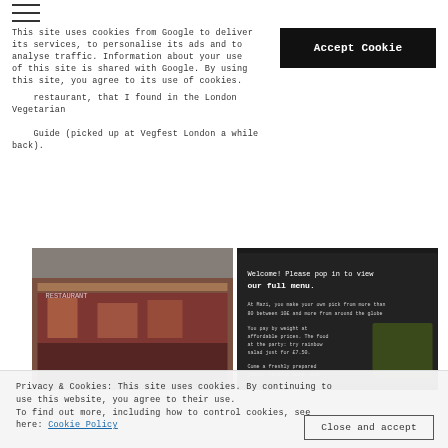[Figure (other): Hamburger menu icon (three horizontal lines)]
This site uses cookies from Google to deliver its services, to personalise its ads and to analyse traffic. Information about your use of this site is shared with Google. By using this site, you agree to its use of cookies.
Accept Cookie
restaurant, that I found in the London Vegetarian Guide (picked up at Vegfest London a while back).
[Figure (photo): Two photos side by side: left shows a restaurant exterior at night with people inside, right shows a chalkboard menu sign saying Welcome! Please pop in to view our full menu.]
Privacy & Cookies: This site uses cookies. By continuing to use this website, you agree to their use. To find out more, including how to control cookies, see here: Cookie Policy
Close and accept
Brothers – they wanted "a delicious and fresh vegetarian